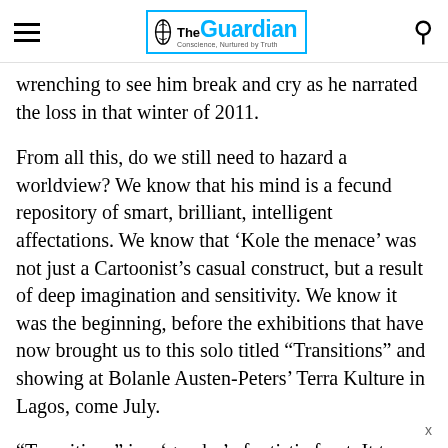The Guardian — Conscience, Nurtured by Truth
wrenching to see him break and cry as he narrated the loss in that winter of 2011.
From all this, do we still need to hazard a worldview? We know that his mind is a fecund repository of smart, brilliant, intelligent affectations. We know that ‘Kole the menace’ was not just a Cartoonist’s casual construct, but a result of deep imagination and sensitivity. We know it was the beginning, before the exhibitions that have now brought us to this solo titled “Transitions” and showing at Bolanle Austen-Peters’ Terra Kulture in Lagos, come July.
“Transitions” is a ‘gumbo’ of artistic feast. It tea